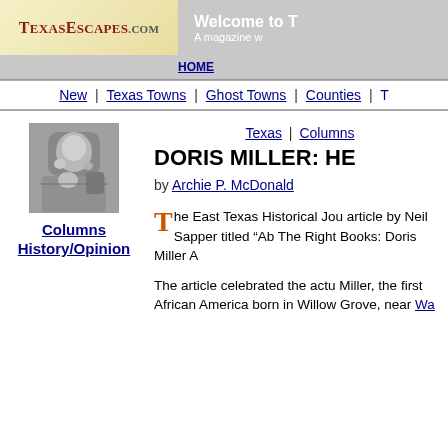TexasEscapes.com | Welcome to T | A magazine w | HOME
New | Texas Towns | Ghost Towns | Counties | T
[Figure (photo): Black and white photo of a person]
Columns History/Opinion
Texas | Columns
DORIS MILLER: HE
by Archie P. McDonald
The East Texas Historical Jou article by Neil Sapper titled "Ab The Right Books: Doris Miller A
The article celebrated the actu Miller, the first African America born in Willow Grove, near Wa